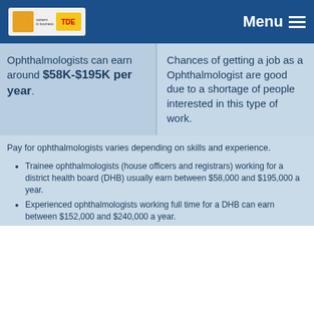Menu
Ophthalmologists can earn around $58K-$195K per year.
Chances of getting a job as a Ophthalmologist are good due to a shortage of people interested in this type of work.
Pay for ophthalmologists varies depending on skills and experience.
Trainee ophthalmologists (house officers and registrars) working for a district health board (DHB) usually earn between $58,000 and $195,000 a year.
Experienced ophthalmologists working full time for a DHB can earn between $152,000 and $240,000 a year.